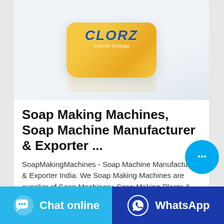[Figure (photo): Product photo of a yellow soap bar (appears to be Glelel/Clor brand) with blue logo text, on a light background with reflection]
Soap Making Machines, Soap Machine Manufacturer & Exporter ...
SoapMakingMachines - Soap Machine Manufacturer & Exporter India. We Soap Making Machines are supplier of Soap Machinery, Soap Making Plants & Machines in India, ...
[Figure (infographic): Circular cyan chat button with ellipsis icon in bottom right of card]
Chat online
WhatsApp